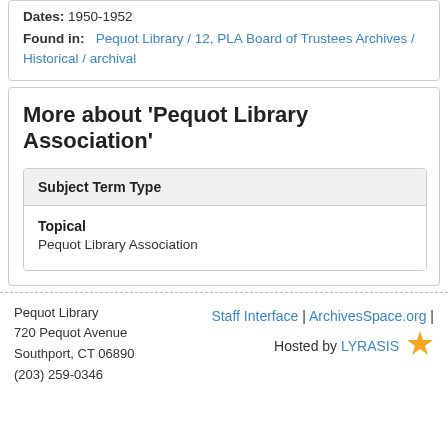Dates: 1950-1952
Found in: Pequot Library / 12, PLA Board of Trustees Archives / Historical / archival
More about 'Pequot Library Association'
| Subject Term Type |
| --- |
| Topical
Pequot Library Association |
Pequot Library
720 Pequot Avenue
Southport, CT 06890
(203) 259-0346
Staff Interface | ArchivesSpace.org |
Hosted by LYRASIS